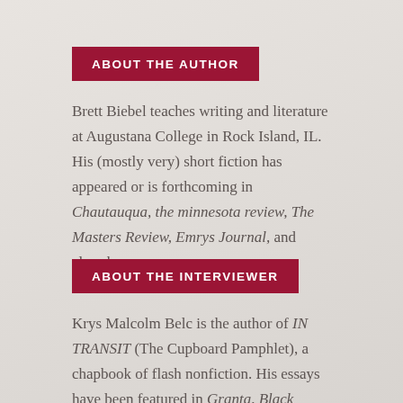ABOUT THE AUTHOR
Brett Biebel teaches writing and literature at Augustana College in Rock Island, IL. His (mostly very) short fiction has appeared or is forthcoming in Chautauqua, the minnesota review, The Masters Review, Emrys Journal, and elsewhere.
ABOUT THE INTERVIEWER
Krys Malcolm Belc is the author of IN TRANSIT (The Cupboard Pamphlet), a chapbook of flash nonfiction. His essays have been featured in Granta, Black Warrior Review, Brevity, and